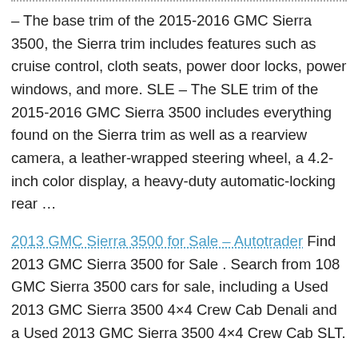– The base trim of the 2015-2016 GMC Sierra 3500, the Sierra trim includes features such as cruise control, cloth seats, power door locks, power windows, and more. SLE – The SLE trim of the 2015-2016 GMC Sierra 3500 includes everything found on the Sierra trim as well as a rearview camera, a leather-wrapped steering wheel, a 4.2-inch color display, a heavy-duty automatic-locking rear …
2013 GMC Sierra 3500 for Sale – Autotrader Find 2013 GMC Sierra 3500 for Sale . Search from 108 GMC Sierra 3500 cars for sale, including a Used 2013 GMC Sierra 3500 4×4 Crew Cab Denali and a Used 2013 GMC Sierra 3500 4×4 Crew Cab SLT.